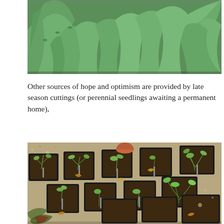[Figure (photo): Top portion of a photo showing large green spiky/serrated tropical plant leaves — agave and palm-like foliage — viewed from close up against a lush green background.]
Other sources of hope and optimism are provided by late season cuttings (or perennial seedlings awaiting a permanent home),
[Figure (photo): Aerial view of many small black plastic plant pots arranged on a gravel surface, containing small seedlings and cuttings at various stages of growth. Autumn leaves are scattered among the pots. A terracotta pot with a plant is visible in the background.]